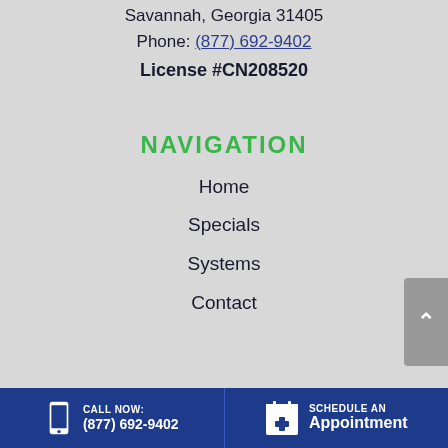Savannah, Georgia 31405
Phone: (877) 692-9402
License #CN208520
NAVIGATION
Home
Specials
Systems
Contact
CALL NOW: (877) 692-9402  SCHEDULE AN Appointment